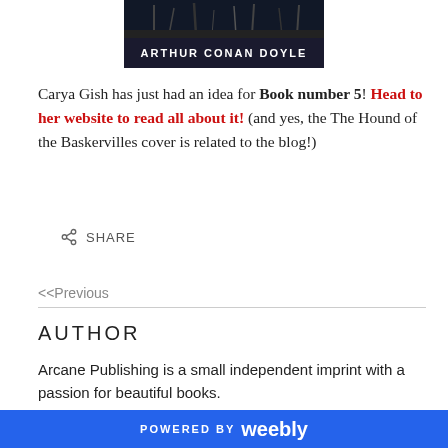[Figure (illustration): Book cover image showing Arthur Conan Doyle - The Hound of the Baskervilles, dark background with author name in white bold letters at bottom]
Carya Gish has just had an idea for Book number 5! Head to her website to read all about it! (and yes, the The Hound of the Baskervilles cover is related to the blog!)
SHARE
<<Previous
AUTHOR
Arcane Publishing is a small independent imprint with a passion for beautiful books.
ARCHIVES
POWERED BY weebly